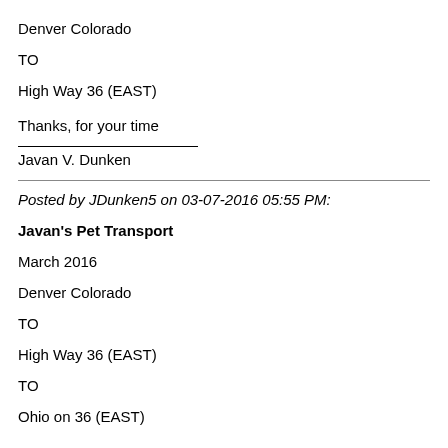Denver Colorado
TO
High Way 36 (EAST)
Thanks, for your time
Javan V. Dunken
Posted by JDunken5 on 03-07-2016 05:55 PM:
Javan's Pet Transport
March 2016
Denver Colorado
TO
High Way 36 (EAST)
TO
Ohio on 36 (EAST)